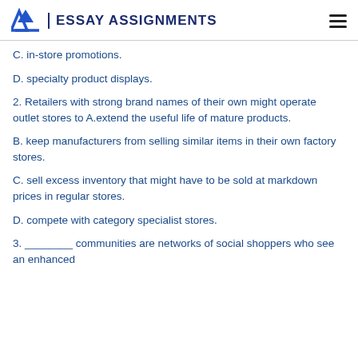EA | ESSAY ASSIGNMENTS
C. in-store promotions.
D. specialty product displays.
2. Retailers with strong brand names of their own might operate outlet stores to A.extend the useful life of mature products.
B. keep manufacturers from selling similar items in their own factory stores.
C. sell excess inventory that might have to be sold at markdown prices in regular stores.
D. compete with category specialist stores.
3. ________ communities are networks of social shoppers who see an enhanced